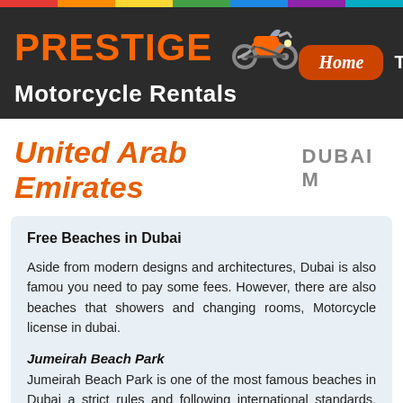[Figure (logo): Prestige Motorcycle Rentals logo with orange text and motorcycle illustration on dark background, with Home navigation button]
United Arab Emirates DUBAI M
Free Beaches in Dubai
Aside from modern designs and architectures, Dubai is also famous you need to pay some fees. However, there are also beaches that showers and changing rooms, Motorcycle license in dubai.
Jumeirah Beach Park
Jumeirah Beach Park is one of the most famous beaches in Dubai a strict rules and following international standards. JBP is very ide occasions, Motorcycle license in dubai.